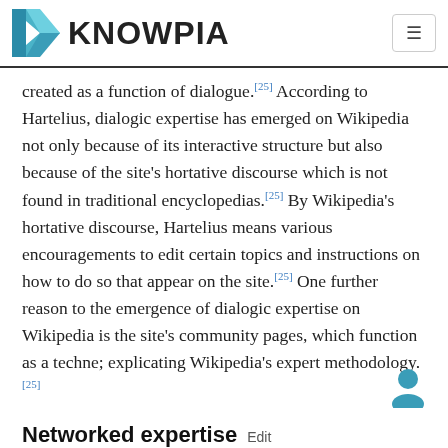KNOWPIA
created as a function of dialogue.[25] According to Hartelius, dialogic expertise has emerged on Wikipedia not only because of its interactive structure but also because of the site's hortative discourse which is not found in traditional encyclopedias.[25] By Wikipedia's hortative discourse, Hartelius means various encouragements to edit certain topics and instructions on how to do so that appear on the site.[25] One further reason to the emergence of dialogic expertise on Wikipedia is the site's community pages, which function as a techne; explicating Wikipedia's expert methodology.[25]
Networked expertise